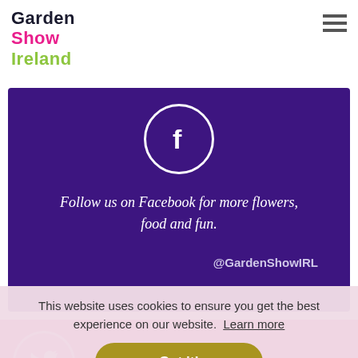[Figure (logo): Garden Show Ireland logo with 'Garden' in dark navy, 'Show' in pink/magenta, 'Ireland' in green]
[Figure (illustration): Purple banner with Facebook circle icon and italic text: 'Follow us on Facebook for more flowers, food and fun.' and handle @GardenShowIRL]
This website uses cookies to ensure you get the best experience on our website. Learn more
Got it!
[Figure (illustration): Pink/magenta banner with Twitter circle icon and italic text: 'We'd like to thank everyone for coming along to Garden Show Ireland at the...']